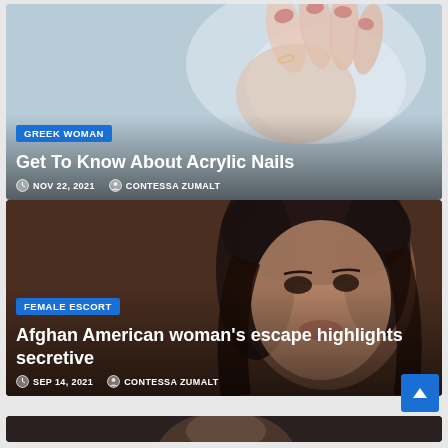[Figure (photo): Close-up photo of a hand with manicured nails against a soft blue-grey background]
GREEK WOMAN
Get To Know About Acrylic Nails
NOV 22, 2021  CONTESSA ZUMALT
[Figure (photo): Close-up portrait of an Afghan American woman with dark hair and eyes against a warm dark background]
FEMALE ESCORT
Afghan American woman's escape highlights secretive
SEP 14, 2021  CONTESSA ZUMALT
[Figure (photo): Partial photo at bottom of page, dark tones, faces visible]